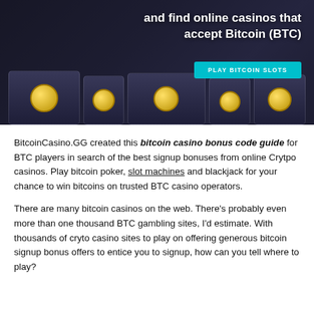[Figure (photo): Banner image showing slot machines in a dark casino setting with text overlay reading 'and find online casinos that accept Bitcoin (BTC)' and a cyan 'PLAY BITCOIN SLOTS' button]
BitcoinCasino.GG created this bitcoin casino bonus code guide for BTC players in search of the best signup bonuses from online Crytpo casinos. Play bitcoin poker, slot machines and blackjack for your chance to win bitcoins on trusted BTC casino operators.
There are many bitcoin casinos on the web. There's probably even more than one thousand BTC gambling sites, I'd estimate. With thousands of cryto casino sites to play on offering generous bitcoin signup bonus offers to entice you to signup, how can you tell where to play?